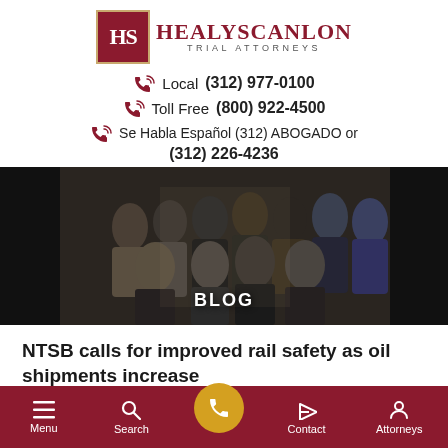[Figure (logo): Healy Scanlon Trial Attorneys logo with HS monogram in dark red square and firm name in dark red serif text]
Local  (312) 977-0100
Toll Free  (800) 922-4500
Se Habla Español (312) ABOGADO or (312) 226-4236
[Figure (photo): Group photo of law firm attorneys in professional attire, approximately 12 people posed together in an indoor setting with text BLOG overlaid at bottom]
NTSB calls for improved rail safety as oil shipments increase
Menu  Search  [Call Button]  Contact  Attorneys